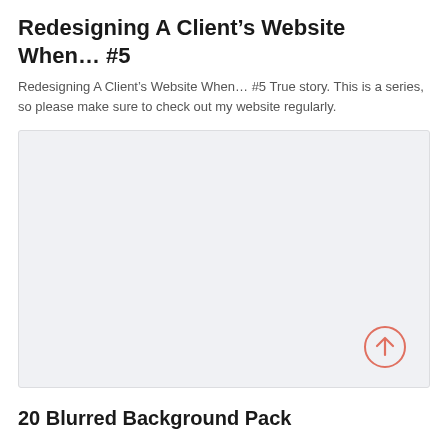Redesigning A Client’s Website When… #5
Redesigning A Client’s Website When… #5 True story. This is a series, so please make sure to check out my website regularly.
[Figure (other): Light gray placeholder image area with an upward arrow icon (upload icon) in a salmon/coral circle outline at the bottom right corner.]
20 Blurred Background Pack